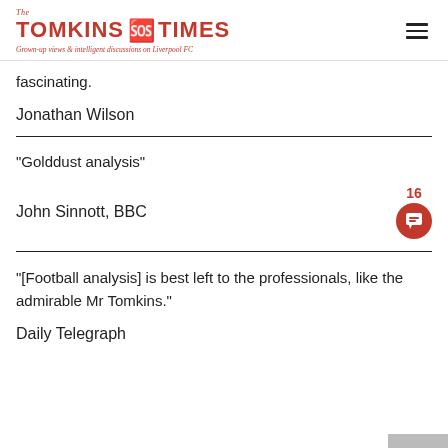The Tomkins Times — Grown-up views & intelligent discussions on Liverpool FC
fascinating.
Jonathan Wilson
“Golddust analysis”
John Sinnott, BBC
“[Football analysis] is best left to the professionals, like the admirable Mr Tomkins.”
Daily Telegraph